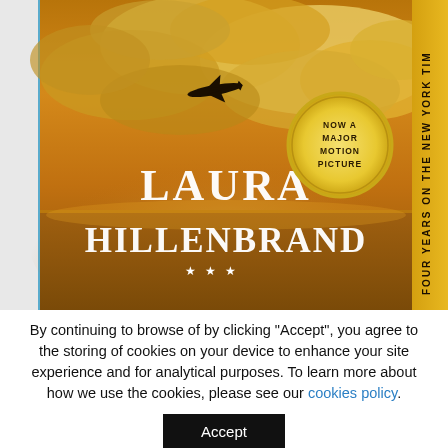[Figure (photo): Book cover of Laura Hillenbrand's book showing a dramatic golden cloudy sky with a WWII airplane silhouette, ocean horizon, the author name 'LAURA HILLENBRAND' in large white serif text, three white stars, a circular badge reading 'NOW A MAJOR MOTION PICTURE', and a yellow vertical banner on the right reading 'FOUR YEARS ON THE NEW YORK TIM[ES BESTSELLER LIST]']
By continuing to browse of by clicking "Accept", you agree to the storing of cookies on your device to enhance your site experience and for analytical purposes. To learn more about how we use the cookies, please see our cookies policy.
Accept